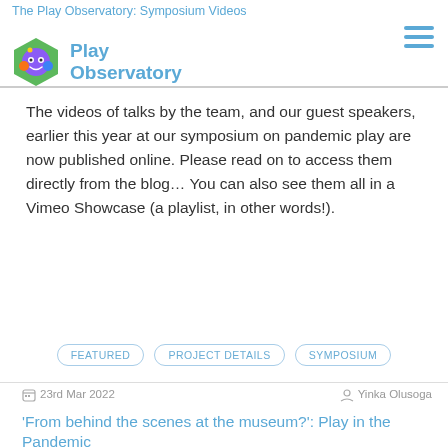The Play Observatory: Symposium Videos
The videos of talks by the team, and our guest speakers, earlier this year at our symposium on pandemic play are now published online. Please read on to access them directly from the blog… You can also see them all in a Vimeo Showcase (a playlist, in other words!).
FEATURED
PROJECT DETAILS
SYMPOSIUM
23rd Mar 2022   Yinka Olusoga
'From behind the scenes at the museum?': Play in the Pandemic
The Play Observatory Team has some exciting news!